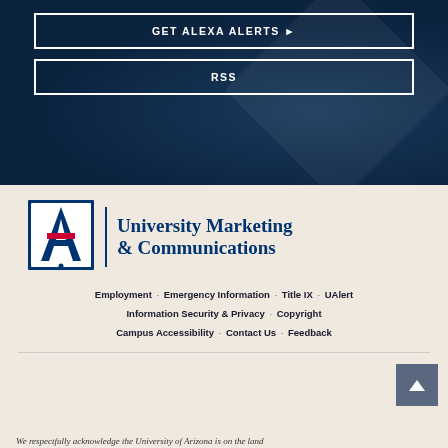GET ALEXA ALERTS
RSS
[Figure (logo): University of Arizona logo with 'A' mark and text reading University Marketing & Communications]
Employment · Emergency Information · Title IX · UAlert · Information Security & Privacy · Copyright · Campus Accessibility · Contact Us · Feedback
We respectfully acknowledge the University of Arizona is on the land